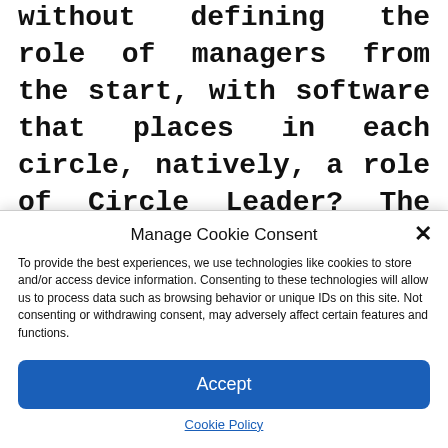without defining the role of managers from the start, with software that places in each circle, natively, a role of Circle Leader? The following questions naturally arise from this: what is the nature of management in the company? What are the expectations of the boss in relation to this same management? Pandora's box is open and the software can
Manage Cookie Consent
To provide the best experiences, we use technologies like cookies to store and/or access device information. Consenting to these technologies will allow us to process data such as browsing behavior or unique IDs on this site. Not consenting or withdrawing consent, may adversely affect certain features and functions.
Accept
Cookie Policy